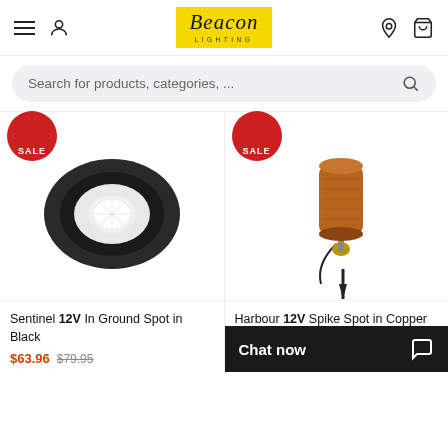Beacon Lighting — Navigation header with hamburger menu, user icon, logo, location icon, cart icon
Search for products, categories, ...
[Figure (photo): Product photo: Sentinel 12V In Ground Spot in Black — a round flat black recessed spotlight with a white LED center, shown from above. SALE badge in top-left corner.]
[Figure (photo): Product photo: Harbour 12V Spike Spot in Copper — a copper cylindrical spike spotlight on a black metal stake with brass joint and cable. SALE badge in top-left corner.]
Sentinel 12V In Ground Spot in Black
$63.96  $79.95
Harbour 12V Spike Spot in Copper
Chat now